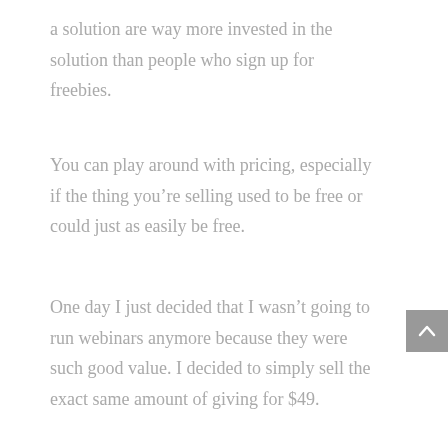a solution are way more invested in the solution than people who sign up for freebies.
You can play around with pricing, especially if the thing you’re selling used to be free or could just as easily be free.
One day I just decided that I wasn’t going to run webinars anymore because they were such good value. I decided to simply sell the exact same amount of giving for $49.